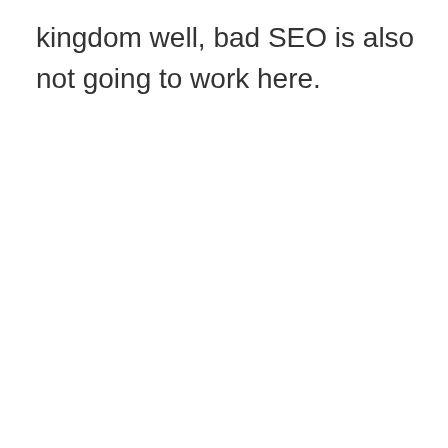kingdom well, bad SEO is also not going to work here.